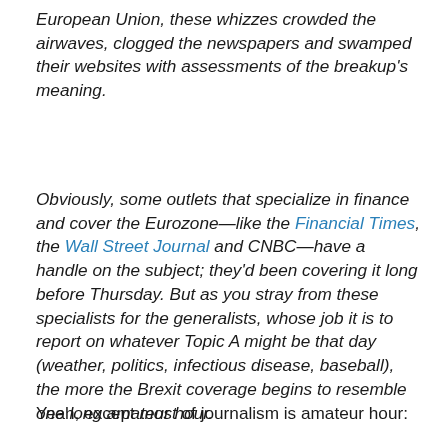European Union, these whizzes crowded the airwaves, clogged the newspapers and swamped their websites with assessments of the breakup's meaning.
Obviously, some outlets that specialize in finance and cover the Eurozone—like the Financial Times, the Wall Street Journal and CNBC—have a handle on the subject; they'd been covering it long before Thursday. But as you stray from these specialists for the generalists, whose job it is to report on whatever Topic A might be that day (weather, politics, infectious disease, baseball), the more the Brexit coverage begins to resemble one long amateur hour.
Yeah, except most of journalism is amateur hour: